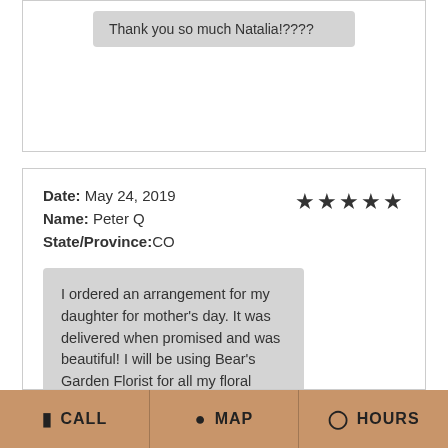Thank you so much Natalia!????
Date: May 24, 2019
Name: Peter Q
State/Province:CO
★★★★★
I ordered an arrangement for my daughter for mother's day. It was delivered when promised and was beautiful! I will be using Bear's Garden Florist for all my floral needs! Thank you!
Candy's Reply:    Date: May 24, 2019, 7:29 pm
Thank you for your business... and your
CALL   MAP   HOURS